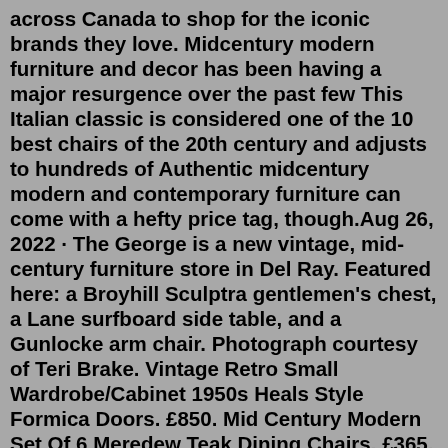across Canada to shop for the iconic brands they love. Midcentury modern furniture and decor has been having a major resurgence over the past few This Italian classic is considered one of the 10 best chairs of the 20th century and adjusts to hundreds of Authentic midcentury modern and contemporary furniture can come with a hefty price tag, though.Aug 26, 2022 · The George is a new vintage, mid-century furniture store in Del Ray. Featured here: a Broyhill Sculptra gentlemen's chest, a Lane surfboard side table, and a Gunlocke arm chair. Photograph courtesy of Teri Brake. Vintage Retro Small Wardrobe/Cabinet 1950s Heals Style Formica Doors. £850. Mid Century Modern Set Of 6 Meredew Teak Dining Chairs. £365. Vintage Meredew Danish Scandinavian Design Mcm Mid Century Solid Teak Wood Coffee Table. £250. Meredew Teak Top Mid Century Chest Of Drawers 1960s Vintage Retro Furniture. £190.Mid-Century Modern is a term often used to describe the aesthetic of new products, particularly furniture. Industrial design products